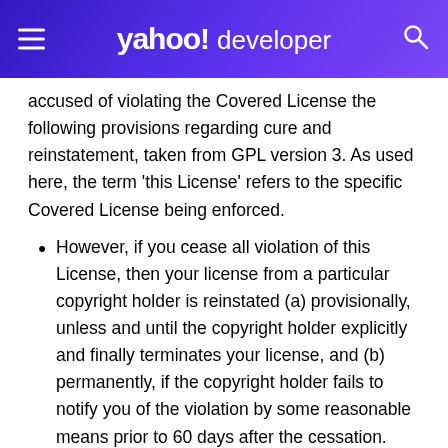yahoo! developer
accused of violating the Covered License the following provisions regarding cure and reinstatement, taken from GPL version 3. As used here, the term 'this License' refers to the specific Covered License being enforced.
However, if you cease all violation of this License, then your license from a particular copyright holder is reinstated (a) provisionally, unless and until the copyright holder explicitly and finally terminates your license, and (b) permanently, if the copyright holder fails to notify you of the violation by some reasonable means prior to 60 days after the cessation.
Moreover, your license from a particular copyright holder is reinstated permanently if the copyright holder notifies you of the